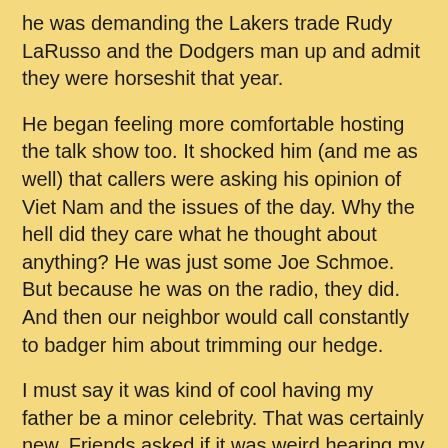he was demanding the Lakers trade Rudy LaRusso and the Dodgers man up and admit they were horseshit that year.
He began feeling more comfortable hosting the talk show too. It shocked him (and me as well) that callers were asking his opinion of Viet Nam and the issues of the day. Why the hell did they care what he thought about anything? He was just some Joe Schmoe. But because he was on the radio, they did. And then our neighbor would call constantly to badger him about trimming our hedge.
I must say it was kind of cool having my father be a minor celebrity. That was certainly new. Friends asked if it was weird hearing my dad on the radio? I'd so no, but every so often he'd voice an opinion or share some personal anecdote that I didn't know. That was bizarre. And then I wondered, what is he revealing that I didn't know on nights I wasn't listening? Does Ruth in Downey and Lester from Alhambra know things about my father that I don't? I found this disconcerting but not so disconcerting that I'd listen to him over Vin Scully when the Dodgers were playing.